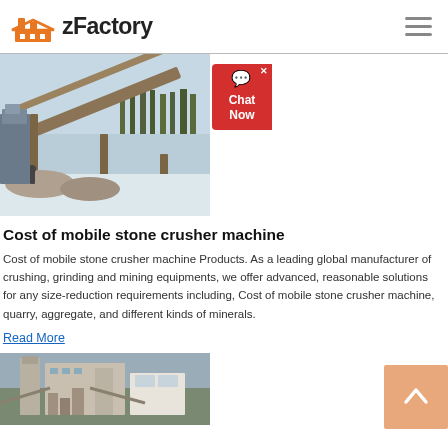zFactory
[Figure (photo): Outdoor mining/quarry conveyor belt system in winter with people standing nearby and stone piles]
Cost of mobile stone crusher machine
Cost of mobile stone crusher machine Products. As a leading global manufacturer of crushing, grinding and mining equipments, we offer advanced, reasonable solutions for any size-reduction requirements including, Cost of mobile stone crusher machine, quarry, aggregate, and different kinds of minerals.
Read More
[Figure (photo): Industrial crushing/grinding facility building exterior with equipment]